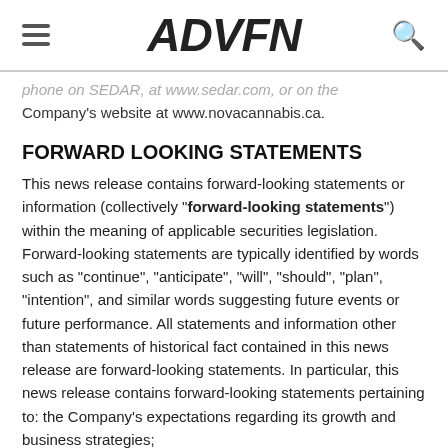ADVFN
phone on SEDAR, at www.sedar.com, or on the Company's website at www.novacannabis.ca.
FORWARD LOOKING STATEMENTS
This news release contains forward-looking statements or information (collectively "forward-looking statements") within the meaning of applicable securities legislation. Forward-looking statements are typically identified by words such as "continue", "anticipate", "will", "should", "plan", "intention", and similar words suggesting future events or future performance. All statements and information other than statements of historical fact contained in this news release are forward-looking statements. In particular, this news release contains forward-looking statements pertaining to: the Company's expectations regarding its growth and business strategies;